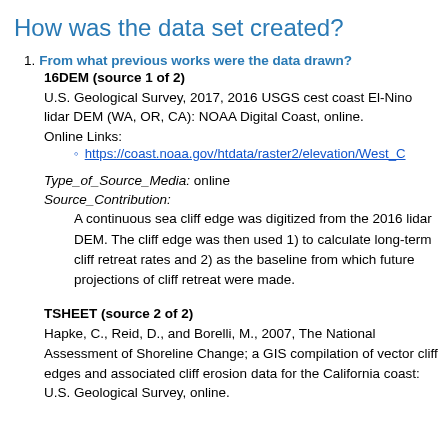How was the data set created?
From what previous works were the data drawn?
16DEM (source 1 of 2)
U.S. Geological Survey, 2017, 2016 USGS cest coast El-Nino lidar DEM (WA, OR, CA): NOAA Digital Coast, online.
Online Links:
https://coast.noaa.gov/htdata/raster2/elevation/West_C
Type_of_Source_Media: online
Source_Contribution:
A continuous sea cliff edge was digitized from the 2016 lidar DEM. The cliff edge was then used 1) to calculate long-term cliff retreat rates and 2) as the baseline from which future projections of cliff retreat were made.
TSHEET (source 2 of 2)
Hapke, C., Reid, D., and Borelli, M., 2007, The National Assessment of Shoreline Change; a GIS compilation of vector cliff edges and associated cliff erosion data for the California coast: U.S. Geological Survey, online.